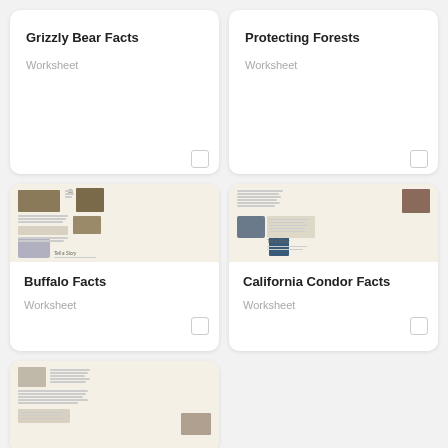Grizzly Bear Facts
Worksheet
Protecting Forests
Worksheet
[Figure (illustration): Thumbnail preview of Buffalo Facts worksheet showing bison images and text]
Buffalo Facts
Worksheet
[Figure (illustration): Thumbnail preview of California Condor Facts worksheet showing condor images and text]
California Condor Facts
Worksheet
[Figure (illustration): Partial thumbnail preview of another animal facts worksheet]